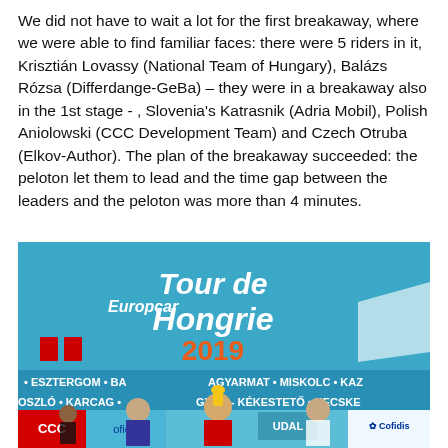We did not have to wait a lot for the first breakaway, where we were able to find familiar faces: there were 5 riders in it, Krisztián Lovassy (National Team of Hungary), Balázs Rózsa (Differdange-GeBa) – they were in a breakaway also in the 1st stage - , Slovenia's Katrasnik (Adria Mobil), Polish Aniolowski (CCC Development Team) and Czech Otruba (Elkov-Author). The plan of the breakaway succeeded: the peloton let them to lead and the time gap between the leaders and the peloton was more than 4 minutes.
[Figure (photo): A podium ceremony at Tour de Hongrie 2019 cycling race. Cyclists on a stage with 'Tour de Hongrie 2019' banner behind them. Europcar sponsor logo visible. Stage cities listed: Esztergom, Balassagyarmat, Miskolc, Kazincbarcika, Hajdúszoboszló, Karcag, Gyöngyös, Kékestető, Kecskemét. CCC and Cofidis team logos visible. Winner holding trophy aloft.]